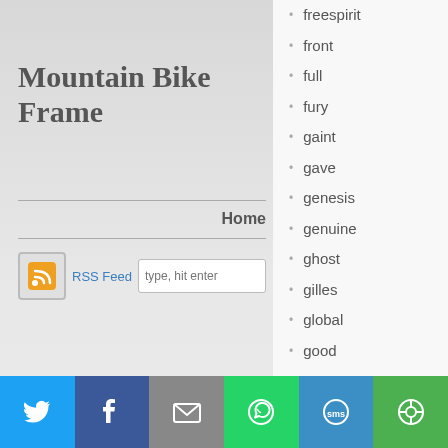Mountain Bike Frame
Home
RSS Feed  type, hit enter
freespirit
front
full
fury
gaint
gave
genesis
genuine
ghost
gilles
global
good
grey
handbuilt
hans
hardtail
hasa
hello
Log in